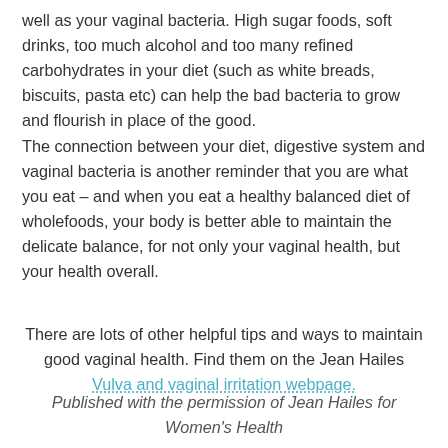well as your vaginal bacteria. High sugar foods, soft drinks, too much alcohol and too many refined carbohydrates in your diet (such as white breads, biscuits, pasta etc) can help the bad bacteria to grow and flourish in place of the good. The connection between your diet, digestive system and vaginal bacteria is another reminder that you are what you eat – and when you eat a healthy balanced diet of wholefoods, your body is better able to maintain the delicate balance, for not only your vaginal health, but your health overall.
There are lots of other helpful tips and ways to maintain good vaginal health. Find them on the Jean Hailes Vulva and vaginal irritation webpage.
Published with the permission of Jean Hailes for Women's Health